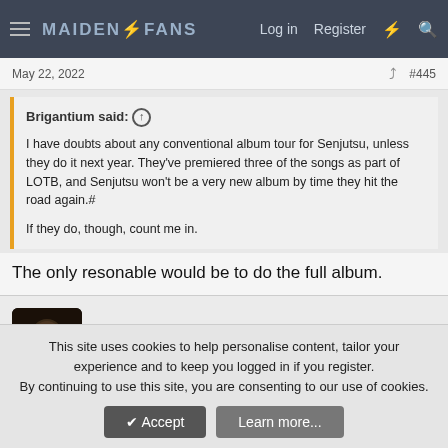MaidenFans — Log in  Register
May 22, 2022   #445
Brigantium said: ↑

I have doubts about any conventional album tour for Senjutsu, unless they do it next year. They've premiered three of the songs as part of LOTB, and Senjutsu won't be a very new album by time they hit the road again.#

If they do, though, count me in.
The only resonable would be to do the full album.
Black Bart
Ancient Mariner
This site uses cookies to help personalise content, tailor your experience and to keep you logged in if you register.
By continuing to use this site, you are consenting to our use of cookies.